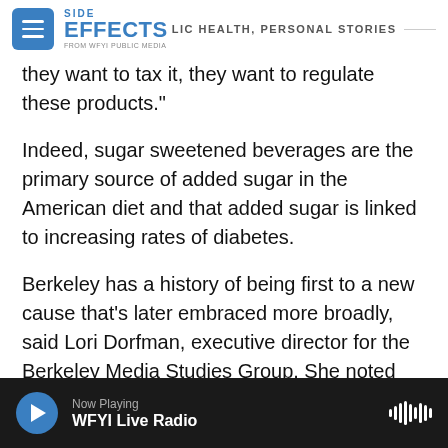SIDE EFFECTS — PUBLIC HEALTH, PERSONAL STORIES — FROM WFYI PUBLIC MEDIA
they want to tax it, they want to regulate these products."
Indeed, sugar sweetened beverages are the primary source of added sugar in the American diet and that added sugar is linked to increasing rates of diabetes.
Berkeley has a history of being first to a new cause that's later embraced more broadly, said Lori Dorfman, executive director for the Berkeley Media Studies Group. She noted that Berkeley was the first city to pass a clean indoor air ordinance. "In the
Now Playing — WFYI Live Radio